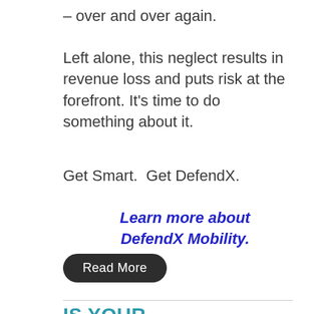– over and over again.
Left alone, this neglect results in revenue loss and puts risk at the forefront. It's time to do something about it.
Get Smart.  Get DefendX.
Learn more about DefendX Mobility.
Read More
IS YOUR CORPORATE FILE